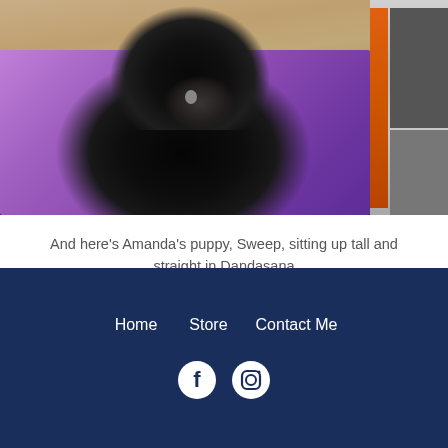[Figure (photo): A black fluffy puppy named Sweep sitting on a purple yoga mat, viewed from behind/side. A stack of books is visible on the right side. The floor/carpet is visible at the top.]
And here's Amanda's puppy, Sweep, sitting up tall and straight in Dandasana
Home   Store   Contact Me  [Facebook icon] [Instagram icon]